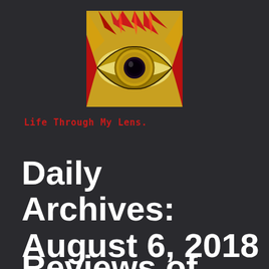[Figure (illustration): Decorative eye artwork logo — a stylized eye with gold/yellow iris, dark pupil, surrounded by red and flame-like shapes on a colorful painted tile or mask background.]
Life Through My Lens.
Daily Archives: August 6, 2018
Reviews of The Wisdom Of Sollo...